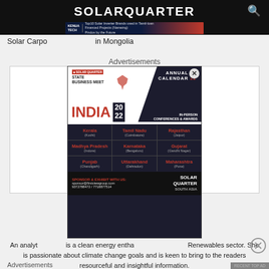SOLARQUARTER
Solar Carpo... in Mongolia
Advertisements
[Figure (infographic): Solar Quarter State Business Meet India 2022 Annual Calendar popup advertisement showing conference locations across Indian states: Kerala (Kochi), Tamil Nadu (Coimbatore), Rajasthan (Jaipur), Madhya Pradesh (Indore), Karnataka (Bengaluru), Gujarat (Gandhi Nagar), Punjab (Chandigarh), Uttarakhand (Dehradun), Maharashtra (Pune). Sponsor & Exhibit contact info shown.]
An analyst... is a clean energy entha... Renewables sector. She is passionate about climate change goals and is keen to bring to the readers resourceful and insightful information.
Advertisements